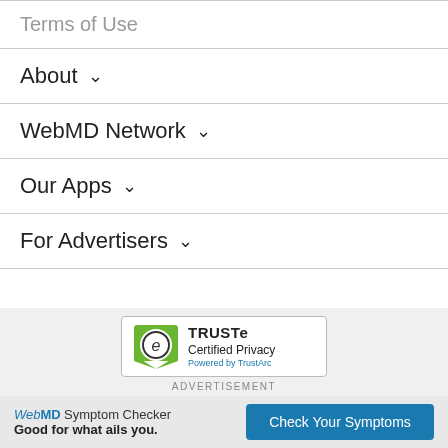Terms of Use
About
WebMD Network
Our Apps
For Advertisers
[Figure (logo): TRUSTe Certified Privacy badge powered by TrustArc]
ADVERTISEMENT
WebMD Symptom Checker Good for what ails you. Check Your Symptoms